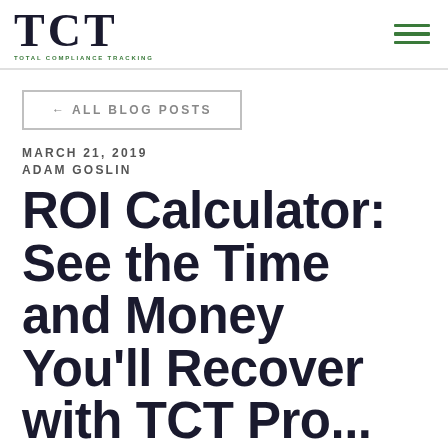TCT TOTAL COMPLIANCE TRACKING
← ALL BLOG POSTS
MARCH 21, 2019
ADAM GOSLIN
ROI Calculator: See the Time and Money You'll Recover with TCT Pro...